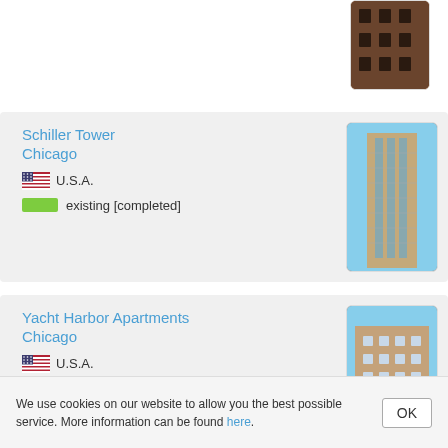[Figure (photo): Partial view of a dark brick building exterior, cropped at top]
Schiller Tower
Chicago
U.S.A.
existing [completed]
[Figure (photo): Tall modern skyscraper with glass facade viewed from below, Chicago]
Yacht Harbor Apartments
Chicago
U.S.A.
existing [completed]
[Figure (photo): Classic multi-story apartment building in Chicago, brick facade]
We use cookies on our website to allow you the best possible service. More information can be found here.